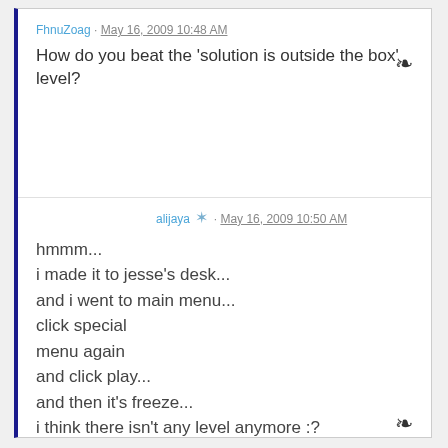FhnuZoag · May 16, 2009 10:48 AM
How do you beat the 'solution is outside the box' level?
alijaya ✶ · May 16, 2009 10:50 AM
hmmm...
i made it to jesse's desk...
and i went to main menu...
click special
menu again
and click play...
and then it's freeze...
i think there isn't any level anymore :?